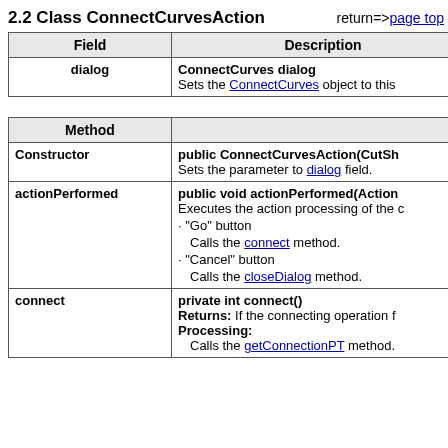2.2 Class ConnectCurvesAction
return=>page top
| Field | Description |
| --- | --- |
| dialog | ConnectCurves dialog
Sets the ConnectCurves object to this |
| Method |  |
| --- | --- |
| Constructor | public ConnectCurvesAction(CutSh...
Sets the parameter to dialog field. |
| actionPerformed | public void actionPerformed(Action...
Executes the action processing of the...
· "Go" button
  Calls the connect method.
· "Cancel" button
  Calls the closeDialog method. |
| connect | private int connect()
Returns: If the connecting operation f...
Processing:
  Calls the getConnectionPT... method. |